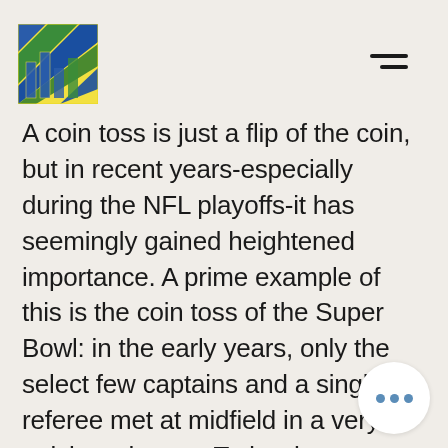[Figure (logo): Stylized logo with diagonal stripes in blue, yellow and green on a white/yellow background square]
A coin toss is just a flip of the coin, but in recent years-especially during the NFL playoffs-it has seemingly gained heightened importance. A prime example of this is the coin toss of the Super Bowl: in the early years, only the select few captains and a single referee met at midfield in a very quick exchange. Today, however, things are drastically different, as a small village of camera crews and important individuals accompany the captains to film the result of the coin toss. Moreover, mantras about which option to choose ("tails never fail") have emerged, the coin is specially engraved for the occasion, and Las